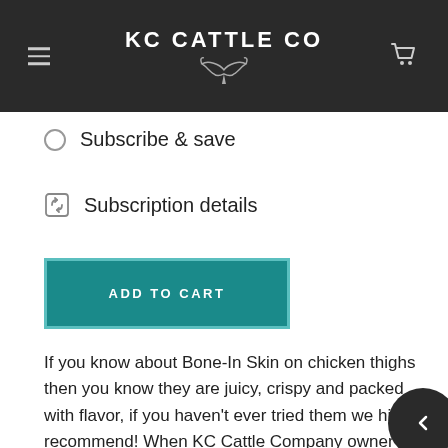KC CATTLE CO
Subscribe & save
Subscription details
ADD TO CART
If you know about Bone-In Skin on chicken thighs then you know they are juicy, crispy and packed with flavor, if you haven't ever tried them we highly recommend! When KC Cattle Company owner Patrick isn't eating Wagyu beef this is his go to weeknight favorite. Pop them